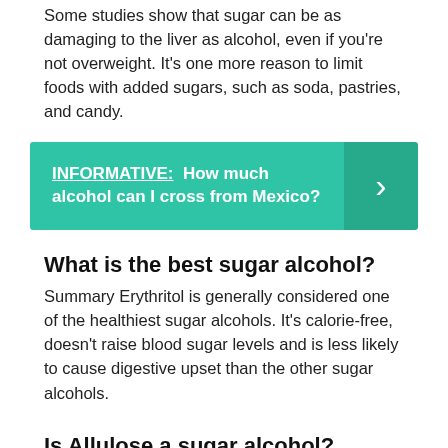Some studies show that sugar can be as damaging to the liver as alcohol, even if you're not overweight. It's one more reason to limit foods with added sugars, such as soda, pastries, and candy.
[Figure (infographic): Teal banner with white bold text: INFORMATIVE: How much alcohol can I cross from Mexico? and a right-arrow chevron on a darker teal background on the right side.]
What is the best sugar alcohol?
Summary Erythritol is generally considered one of the healthiest sugar alcohols. It's calorie-free, doesn't raise blood sugar levels and is less likely to cause digestive upset than the other sugar alcohols.
Is Allulose a sugar alcohol?
Unlike aspartame and other sweeteners that are purely industrial, Allulose both occurs naturally and is not a sugar